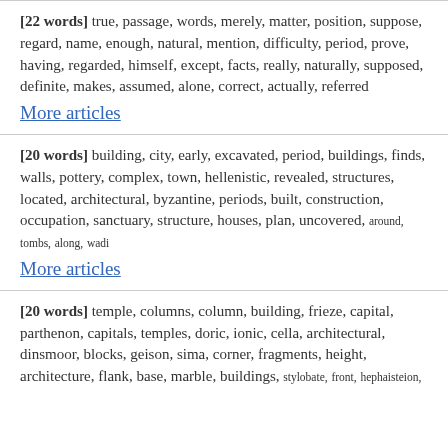[22 words] true, passage, words, merely, matter, position, suppose, regard, name, enough, natural, mention, difficulty, period, prove, having, regarded, himself, except, facts, really, naturally, supposed, definite, makes, assumed, alone, correct, actually, referred
More articles
[20 words] building, city, early, excavated, period, buildings, finds, walls, pottery, complex, town, hellenistic, revealed, structures, located, architectural, byzantine, periods, built, construction, occupation, sanctuary, structure, houses, plan, uncovered, around, tombs, along, wadi
More articles
[20 words] temple, columns, column, building, frieze, capital, parthenon, capitals, temples, doric, ionic, cella, architectural, dinsmoor, blocks, geison, sima, corner, fragments, height, architecture, flank, base, marble, buildings, stylobate, front, hephaisteion,